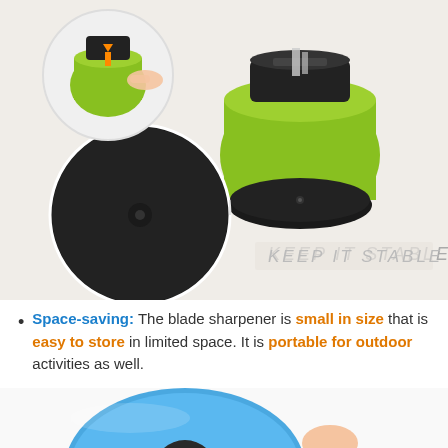[Figure (photo): Product photo of a green knife sharpener with suction cup base on a white surface. Shows a circular close-up inset of someone inserting a blade, a large product shot, and a detail circle showing the black suction cup bottom with text 'KEEP IT STABLE' in light gray italic letters.]
Space-saving: The blade sharpener is small in size that is easy to store in limited space. It is portable for outdoor activities as well.
[Figure (photo): Partial photo of a blue suction cup base of a knife sharpener, with a finger pressing on it, visible from the bottom of the page.]